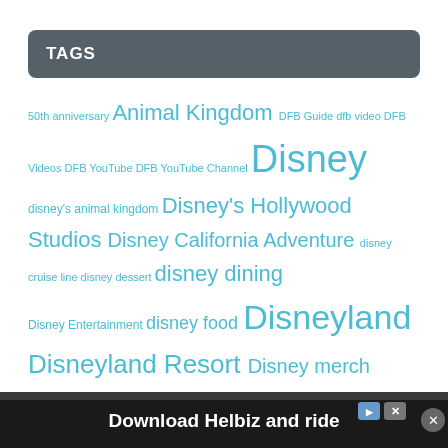TAGS
50th anniversary Animal Kingdom DFB Guide dfb video DFB Videos DFB YouTube DFB YouTube Channel Disney disney's animal kingdom Disney's Hollywood Studios Disney California Adventure disney cruise line disney dessert disney dining Disney Entertainment disney food Disneyland Disneyland Resort Disney merch Disney merchandise disney news disney parks disney resorts disney snacks disney springs disney treats Disney World Disney World reopening Downtown Disney Epcot halloween Hollywood Studios magic kingdom merchandise reopening review shopdisney shopping Snacks star wars Galaxy's Edge Walt Disney World what's new
[Figure (screenshot): Advertisement bar at bottom: Download Helbiz and ride]